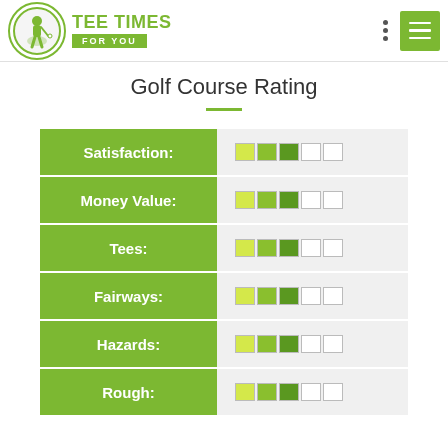[Figure (logo): Tee Times For You logo with golfer silhouette in green circle and green text]
Golf Course Rating
| Category | Rating |
| --- | --- |
| Satisfaction: | 3/5 |
| Money Value: | 3/5 |
| Tees: | 3/5 |
| Fairways: | 3/5 |
| Hazards: | 3/5 |
| Rough: | 3/5 |